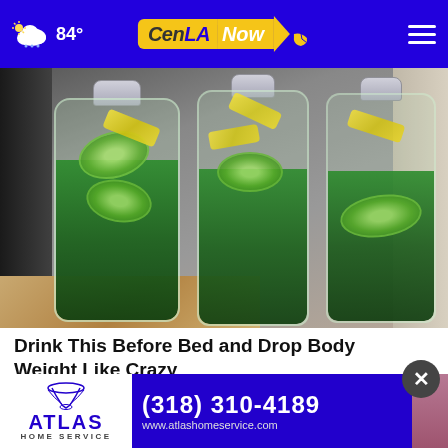84° CenLA Now [navigation]
[Figure (photo): Three large glass bottles filled with infused water containing cucumber slices, lemon slices, and fresh mint leaves, sitting on a kitchen counter.]
Drink This Before Bed and Drop Body Weight Like Crazy
Healt
[Figure (infographic): Advertisement banner for Atlas Home Service showing logo on white background, phone number (318) 310-4189, and website www.atlashomeservice.com on purple background.]